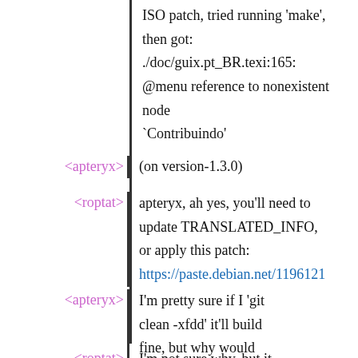ISO patch, tried running 'make', then got: ./doc/guix.pt_BR.texi:165: @menu reference to nonexistent node `Contribuindo'
<apteryx> (on version-1.3.0)
<roptat> apteryx, ah yes, you'll need to update TRANSLATED_INFO, or apply this patch: https://paste.debian.net/1196121
<apteryx> I'm pretty sure if I 'git clean -xfdd' it'll build fine, but why would that be
<roptat> I'm not sure why, but it